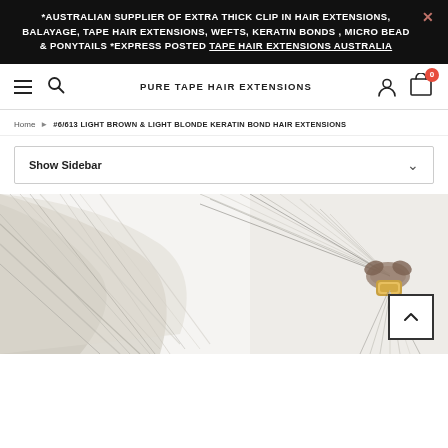*AUSTRALIAN SUPPLIER OF EXTRA THICK CLIP IN HAIR EXTENSIONS, BALAYAGE, TAPE HAIR EXTENSIONS, WEFTS, KERATIN BONDS , MICRO BEAD & PONYTAILS *EXPRESS POSTED TAPE HAIR EXTENSIONS AUSTRALIA
[Figure (screenshot): Navigation bar with hamburger menu, search icon, brand name 'PURE TAPE HAIR EXTENSIONS', user icon, and cart icon with badge showing 0]
Home > #6/613 LIGHT BROWN & LIGHT BLONDE KERATIN BOND HAIR EXTENSIONS
Show Sidebar
[Figure (photo): Product photo showing light blonde/grey hair extensions with keratin bonds attached with a gold clip/bead. Hair strands fanned out showing the bond attachment point.]